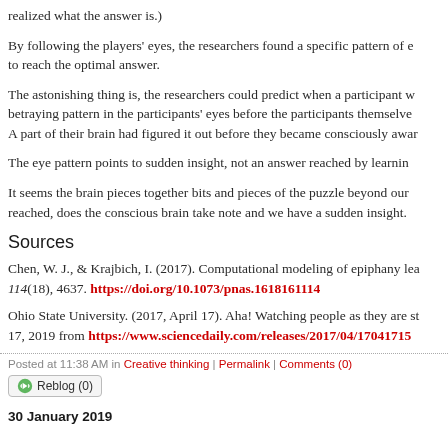realized what the answer is.)
By following the players' eyes, the researchers found a specific pattern of e... to reach the optimal answer.
The astonishing thing is, the researchers could predict when a participant w... betraying pattern in the participants' eyes before the participants themselve... A part of their brain had figured it out before they became consciously awar...
The eye pattern points to sudden insight, not an answer reached by learning...
It seems the brain pieces together bits and pieces of the puzzle beyond our... reached, does the conscious brain take note and we have a sudden insight...
Sources
Chen, W. J., & Krajbich, I. (2017). Computational modeling of epiphany lea... 114(18), 4637. https://doi.org/10.1073/pnas.1618161114
Ohio State University. (2017, April 17). Aha! Watching people as they are st... 17, 2019 from https://www.sciencedaily.com/releases/2017/04/17041715...
Posted at 11:38 AM in Creative thinking | Permalink | Comments (0)
Reblog (0)
30 January 2019